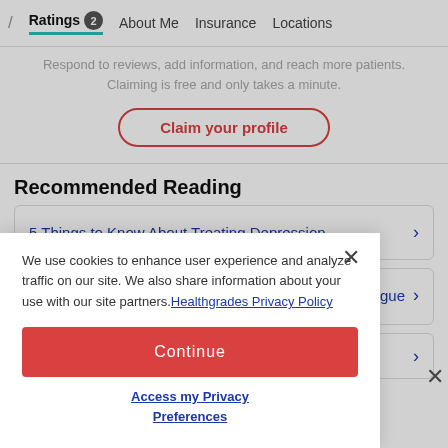/ Ratings 2  About Me  Insurance  Locations
Respond to reviews, add information, and reach more patients. Claiming is free and only takes a minute.
Claim your profile
Recommended Reading
5 Things to Know About Treating Depression >
ongue >
We use cookies to enhance user experience and analyze traffic on our site. We also share information about your use with our site partners. Healthgrades Privacy Policy
Continue
Access my Privacy Preferences